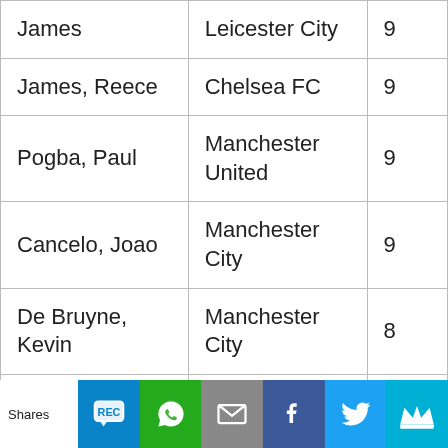| James | Leicester City | 9 |
| James, Reece | Chelsea FC | 9 |
| Pogba, Paul | Manchester United | 9 |
| Cancelo, Joao | Manchester City | 9 |
| De Bruyne, Kevin | Manchester City | 8 |
| Jesus, Gabriel | Manchester City | 8 |
| Kulusevski, D... | Tottenham H... | 8 |